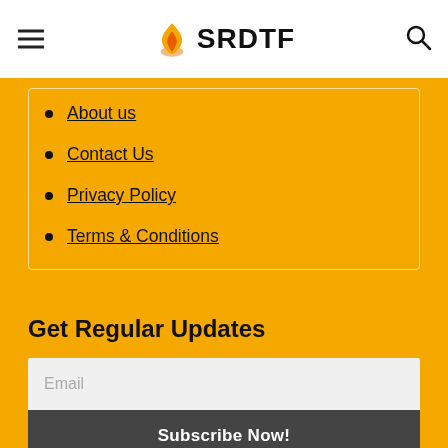SRDTF
About us
Contact Us
Privacy Policy
Terms & Conditions
Get Regular Updates
Email
Subscribe Now!